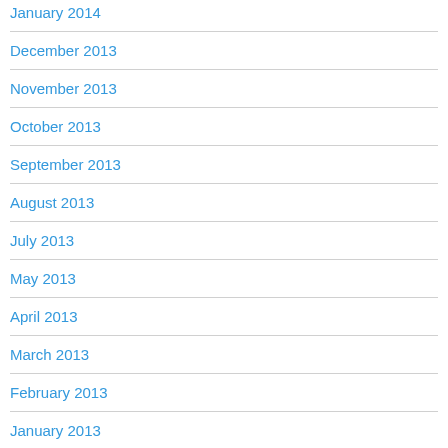January 2014
December 2013
November 2013
October 2013
September 2013
August 2013
July 2013
May 2013
April 2013
March 2013
February 2013
January 2013